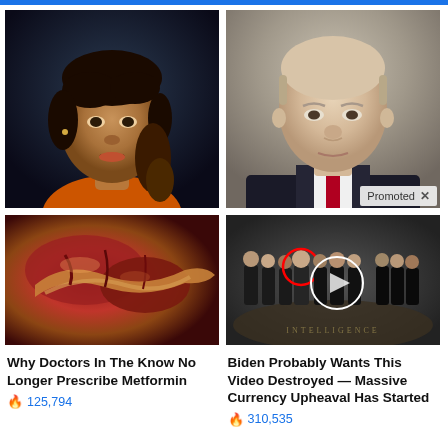[Figure (photo): Photo of a young woman with braided curly hair, athletic appearance]
[Figure (photo): Photo of an older bald man in a dark suit, formal portrait]
[Figure (photo): Close-up medical image of what appears to be a pancreas or organ]
[Figure (photo): Video thumbnail showing group of men in dark suits standing in a hall with CIA seal on floor, red circle and white circle overlaid]
Why Doctors In The Know No Longer Prescribe Metformin
🔥 125,794
Biden Probably Wants This Video Destroyed — Massive Currency Upheaval Has Started
🔥 310,535